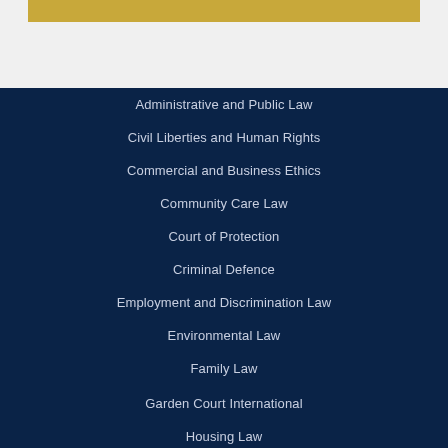[Figure (other): Gold bar decorative element on light gray background header area]
Administrative and Public Law
Civil Liberties and Human Rights
Commercial and Business Ethics
Community Care Law
Court of Protection
Criminal Defence
Employment and Discrimination Law
Environmental Law
Family Law
Garden Court International
Housing Law